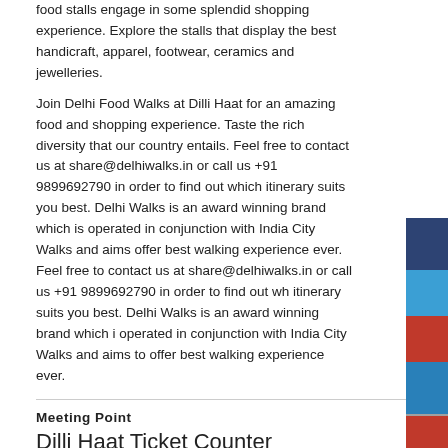food stalls engage in some splendid shopping experience. Explore the stalls that display the best handicraft, apparel, footwear, ceramics and jewelleries.
Join Delhi Food Walks at Dilli Haat for an amazing food and shopping experience. Taste the rich diversity that our country entails. Feel free to contact us at share@delhiwalks.in or call us +91 9899692790 in order to find out which itinerary suits you best. Delhi Walks is an award winning brand which is operated in conjunction with India City Walks and aims offer best walking experience ever. Feel free to contact us at share@delhiwalks.in or call us +91 9899692790 in order to find out which itinerary suits you best. Delhi Walks is an award winning brand which is operated in conjunction with India City Walks and aims to offer best walking experience ever.
Meeting Point
Dilli Haat Ticket Counter
Walk Timing:
Flexible, as per convenience
Inclusions